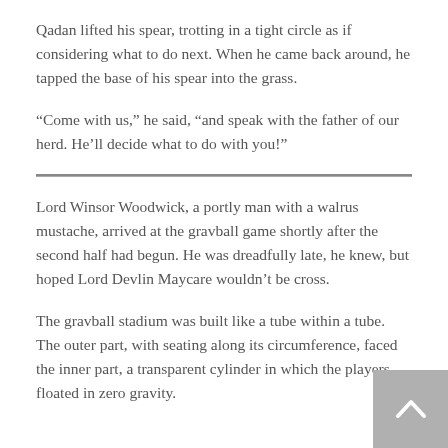Qadan lifted his spear, trotting in a tight circle as if considering what to do next. When he came back around, he tapped the base of his spear into the grass.
“Come with us,” he said, “and speak with the father of our herd. He’ll decide what to do with you!”
Lord Winsor Woodwick, a portly man with a walrus mustache, arrived at the gravball game shortly after the second half had begun. He was dreadfully late, he knew, but hoped Lord Devlin Maycare wouldn’t be cross.
The gravball stadium was built like a tube within a tube. The outer part, with seating along its circumference, faced the inner part, a transparent cylinder in which the players floated in zero gravity.